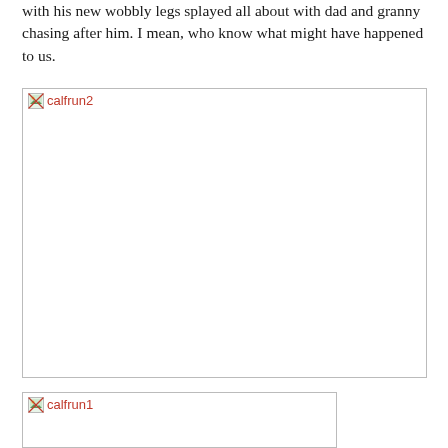with his new wobbly legs splayed all about with dad and granny chasing after him. I mean, who know what might have happened to us.
[Figure (photo): Missing/broken image placeholder labeled 'calfrun2']
[Figure (photo): Missing/broken image placeholder labeled 'calfrun1']